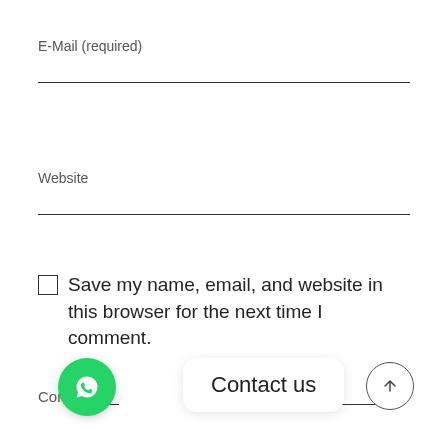E-Mail (required)
Website
Save my name, email, and website in this browser for the next time I comment.
Comment
[Figure (illustration): WhatsApp contact button (green circle with phone icon) and 'Contact us' speech bubble, with a connector line to a circular up-arrow button on the right.]